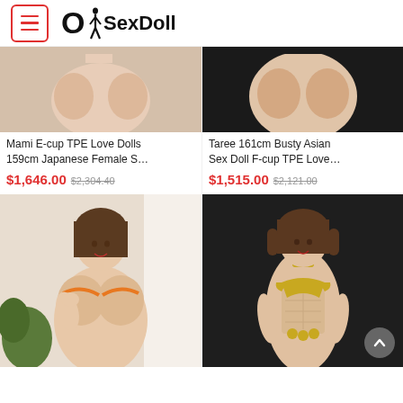OhSexDoll
[Figure (photo): Product photo - Mami E-cup TPE Love Dolls top crop]
Mami E-cup TPE Love Dolls 159cm Japanese Female S…
$1,646.00  $2,304.40
[Figure (photo): Product photo - Taree 161cm Busty Asian Sex Doll top crop]
Taree 161cm Busty Asian Sex Doll F-cup TPE Love…
$1,515.00  $2,121.00
[Figure (photo): Product photo - female doll in orange bikini]
[Figure (photo): Product photo - female doll in gold outfit]